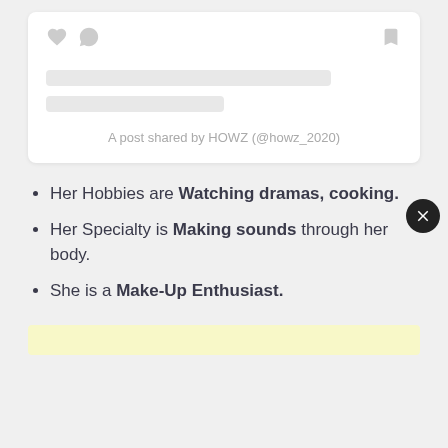[Figure (screenshot): Social media post card with heart, bubble, and bookmark icons, two skeleton loading lines, and a caption 'A post shared by HOWZ (@howz_2020)']
Her Hobbies are Watching dramas, cooking.
Her Specialty is Making sounds through her body.
She is a Make-Up Enthusiast.